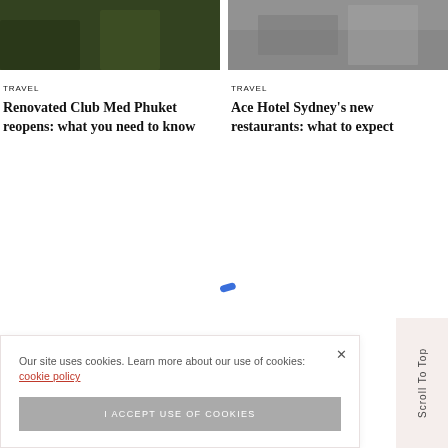[Figure (photo): Top portion of a photo showing green foliage/tropical plants, cropped]
[Figure (photo): Top portion of a photo showing a building exterior, cropped]
TRAVEL
Renovated Club Med Phuket reopens: what you need to know
TRAVEL
Ace Hotel Sydney’s new restaurants: what to expect
Our site uses cookies. Learn more about our use of cookies: cookie policy
I ACCEPT USE OF COOKIES
Scroll To Top